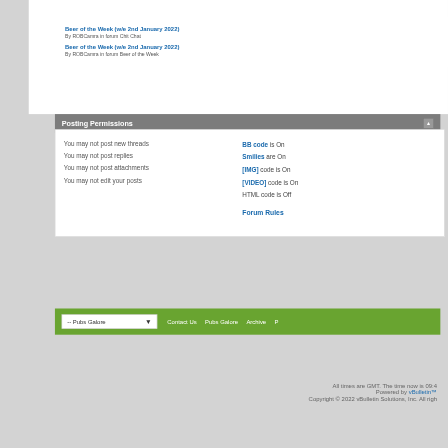Beer of the Week (w/e 2nd January 2022)
By ROBCamra in forum Chit Chat
Beer of the Week (w/e 2nd January 2022)
By ROBCamra in forum Beer of the Week
Posting Permissions
| Permission | Code |
| --- | --- |
| You may not post new threads | BB code is On |
| You may not post replies | Smilies are On |
| You may not post attachments | [IMG] code is On |
| You may not edit your posts | [VIDEO] code is On |
|  | HTML code is Off |
|  | Forum Rules |
-- Pubs Galore  Contact Us  Pubs Galore  Archive  P
All times are GMT. The time now is 09:4
Powered by vBulletin™
Copyright © 2022 vBulletin Solutions, Inc. All righ